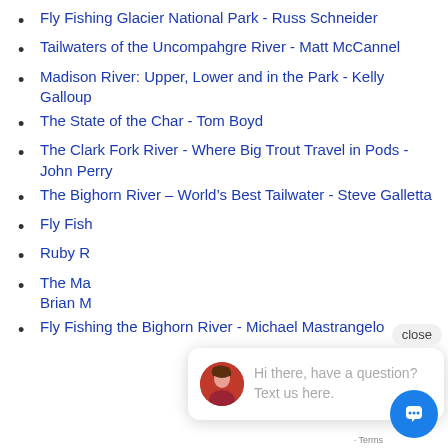Fly Fishing Glacier National Park - Russ Schneider
Tailwaters of the Uncompahgre River - Matt McCannel
Madison River: Upper, Lower and in the Park - Kelly Galloup
The State of the Char - Tom Boyd
The Clark Fork River - Where Big Trout Travel in Pods - John Perry
The Bighorn River – World's Best Tailwater - Steve Galletta
Fly Fish…
Ruby R…
The Ma… Brian M…
Fly Fishing the Bighorn River - Michael Mastrangelo